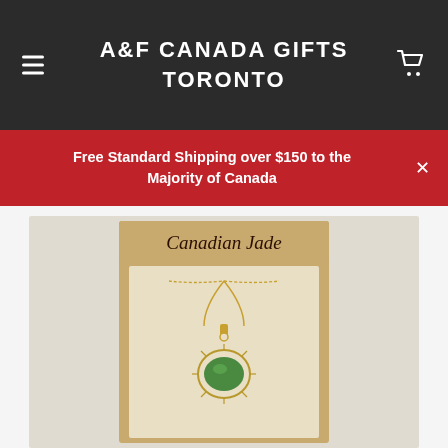A&F CANADA GIFTS TORONTO
Free Standard Shipping over $150 to the Majority of Canada
[Figure (photo): Canadian Jade necklace pendant with green oval jade stone set in gold-toned filigree setting on a gold chain, displayed on a tan cardboard gift card labeled 'Canadian Jade']